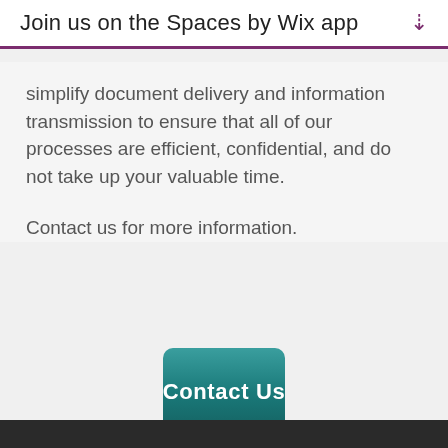Join us on the Spaces by Wix app
simplify document delivery and information transmission to ensure that all of our processes are efficient, confidential, and do not take up your valuable time.
Contact us for more information.
[Figure (other): Teal button with white bold text reading 'Contact Us']